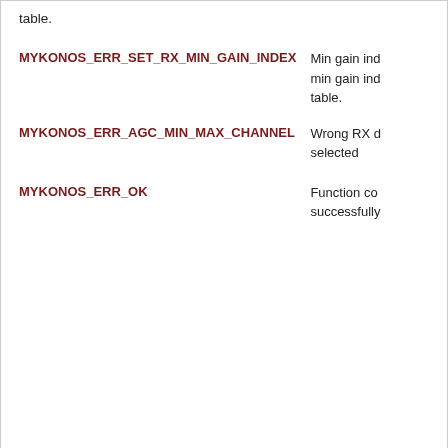| Enumerator | Description |
| --- | --- |
| MYKONOS_ERR_SET_RX_MIN_GAIN_INDEX | Min gain index is below the minimum index in the gain table. min gain ind... table. |
| MYKONOS_ERR_AGC_MIN_MAX_CHANNEL | Wrong RX channel selected |
| MYKONOS_ERR_OK | Function completed successfully. |
MYKONOS_setRxFramerDataSource()
mykonosErr_t MYKONOS_setRxFramerDataSource ( mykonosDevice_t * device, uint8_t dataSo )
Select data to inject into the Rx framer input (ADC data or Loopback data from deframer output)